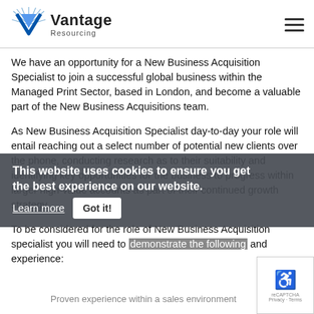Vantage Resourcing
We have an opportunity for a New Business Acquisition Specialist to join a successful global business within the Managed Print Sector, based in London, and become a valuable part of the New Business Acquisitions team.
As New Business Acquisition Specialist day-to-day your role will entail reaching out a select number of potential new clients over the phone, conducting research as to their suitability and identifying key opportunities for the business to progress within larger high-value accounts as part of their continued growth strategy.
[Figure (screenshot): Cookie consent overlay banner with text: 'This website uses cookies to ensure you get the best experience on our website.' with 'Learn more' link and 'Got it!' button.]
To be considered for the role of New Business Acquisition specialist you will need to demonstrate the following and experience:
Proven experience within a sales environment